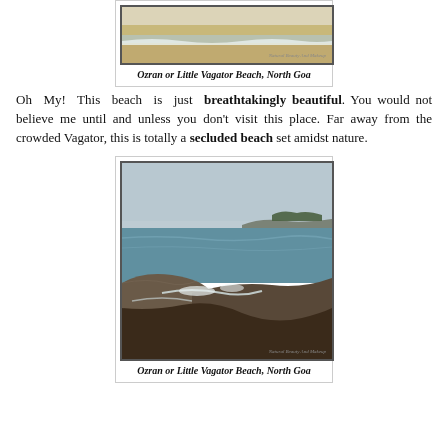[Figure (photo): Photo of Ozran or Little Vagator Beach, North Goa — sandy beach with gentle waves, watermark 'Natural Beauty And Makeup']
Ozran or Little Vagator Beach, North Goa
Oh My! This beach is just breathtakingly beautiful. You would not believe me until and unless you don't visit this place. Far away from the crowded Vagator, this is totally a secluded beach set amidst nature.
[Figure (photo): Photo of Ozran or Little Vagator Beach, North Goa — rocky coastline with waves crashing, ocean and headland in background, watermark 'Natural Beauty And Makeup']
Ozran or Little Vagator Beach, North Goa